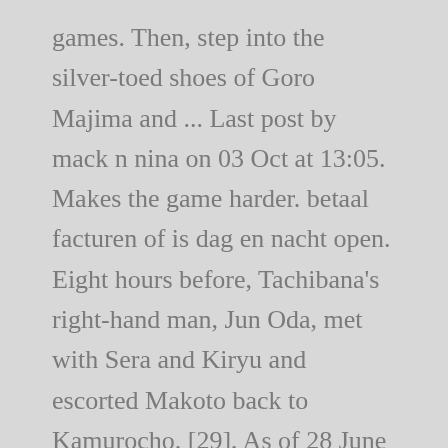games. Then, step into the silver-toed shoes of Goro Majima and ... Last post by mack n nina on 03 Oct at 13:05. Makes the game harder. betaal facturen of is dag en nacht open. Eight hours before, Tachibana's right-hand man, Jun Oda, met with Sera and Kiryu and escorted Makoto back to Kamurocho. [29], As of 28 June 2018, Yakuza 0 and Yakuza Kiwami were relaunched as PlayStation Hits. SEGA's legendary Japanese series finally comes to PC. Yakuza Zero is available on PlayStation 4 and PlayStation 3 and was released on January 24, 2017. Play as Kazuma Kiryu and discover how he finds himself in a world of trouble when a simple debt collection goes wrong and his